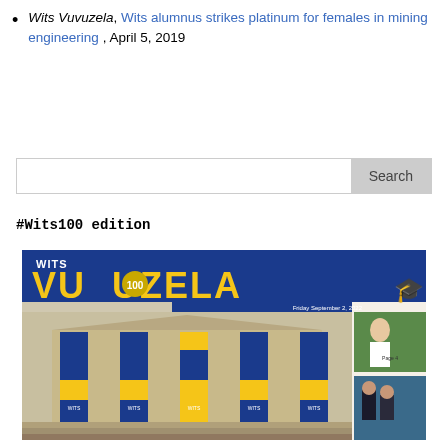Wits Vuvuzela, Wits alumnus strikes platinum for females in mining engineering, April 5, 2019
[Figure (other): Search box UI element with text input area and Search button]
#Wits100 edition
[Figure (illustration): Magazine cover of Wits Vuvuzela #100 edition showing the Great Hall with blue and yellow banners on columns. Header reads WITS VUVUZELA with 100 in gold. Date: Friday September 2, 2022. Side panels show student photos.]